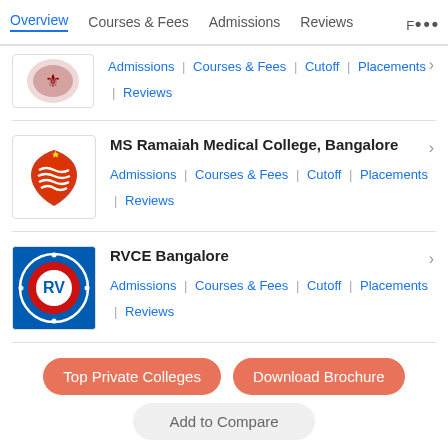Overview | Courses & Fees | Admissions | Reviews | ...
Admissions | Courses & Fees | Cutoff | Placements | Reviews
MS Ramaiah Medical College, Bangalore
Admissions | Courses & Fees | Cutoff | Placements | Reviews
RVCE Bangalore
Admissions | Courses & Fees | Cutoff | Placements | Reviews
Other Popular Colleges in Karnataka
Top Private Colleges
Download Brochure
Add to Compare